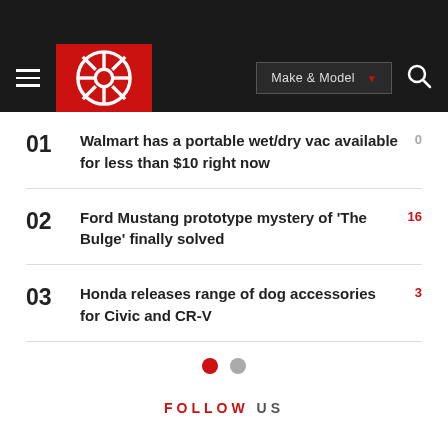[Figure (logo): Autoblog/car review website logo: red square with white circular gear/steering wheel icon]
01 Walmart has a portable wet/dry vac available for less than $10 right now 0
02 Ford Mustang prototype mystery of 'The Bulge' finally solved 16
03 Honda releases range of dog accessories for Civic and CR-V 3
FOLLOW US